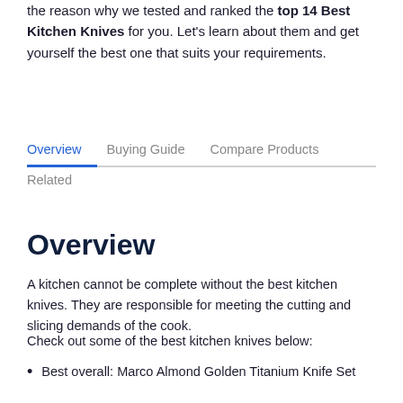the reason why we tested and ranked the top 14 Best Kitchen Knives for you. Let's learn about them and get yourself the best one that suits your requirements.
Overview | Buying Guide | Compare Products | Related
Overview
A kitchen cannot be complete without the best kitchen knives. They are responsible for meeting the cutting and slicing demands of the cook.
Check out some of the best kitchen knives below:
Best overall: Marco Almond Golden Titanium Knife Set